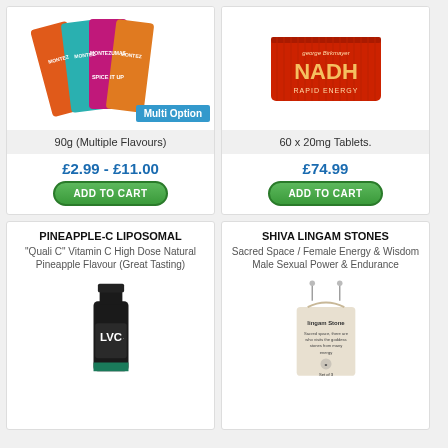[Figure (photo): Montezuma chocolate bars in multiple flavours fanned out]
90g (Multiple Flavours)
£2.99 - £11.00
ADD TO CART
[Figure (photo): Red box of NADH Rapid Energy 60 x 20mg tablets by George Birkmayer]
60 x 20mg Tablets.
£74.99
ADD TO CART
PINEAPPLE-C LIPOSOMAL
"Quali C" Vitamin C High Dose Natural Pineapple Flavour (Great Tasting)
[Figure (photo): Black bottle of LVC liposomal vitamin C]
SHIVA LINGAM STONES
Sacred Space / Female Energy & Wisdom Male Sexual Power & Endurance
[Figure (photo): Linen drawstring bag containing Lingam Stones]